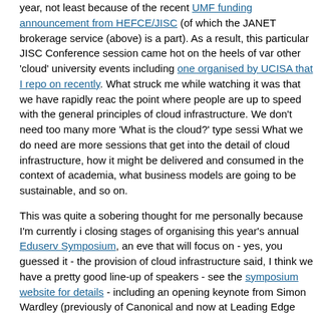year, not least because of the recent UMF funding announcement from HEFCE/JISC (of which the JANET brokerage service (above) is a part). As a result, this particular JISC Conference session came hot on the heels of various other 'cloud' university events including one organised by UCISA that I reported on recently. What struck me while watching it was that we have rapidly reached the point where people are up to speed with the general principles of cloud infrastructure. We don't need too many more 'What is the cloud?' type sessions. What we do need are more sessions that get into the detail of cloud infrastructure, how it might be delivered and consumed in the context of academia, what business models are going to be sustainable, and so on.
This was quite a sobering thought for me personally because I'm currently in the closing stages of organising this year's annual Eduserv Symposium, an event that will focus on - yes, you guessed it - the provision of cloud infrastructure. That said, I think we have a pretty good line-up of speakers - see the symposium website for details - including an opening keynote from Simon Wardley (previously of Canonical and now at Leading Edge Forum) and talks by Chris Cobb (Pro Vice Chancellor, Roehampton University), Phil Richards (Director, Loughborough University) and Kenji Takeda (Senior Lecturer, University of Southampton). I'm also pleased to say that our closing keynote will be given by Armando Fox, Adjunct Associate Professor, Electrical Engineering and Computer Science, UC Berkeley, who was one of the authors of the influential position paper, Above the Clouds: A Berkeley View of Cloud Computing [PDF].